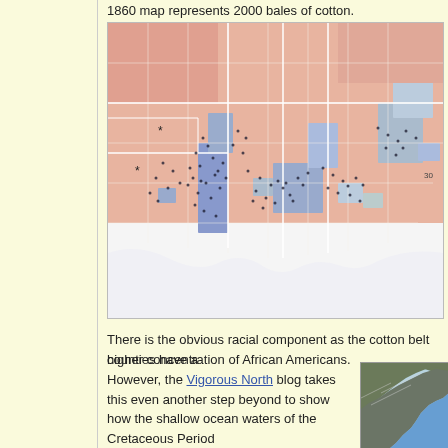1860 map represents 2000 bales of cotton.
[Figure (map): Historical map of the American South showing cotton production and African American population distribution, county-level choropleth with dots representing 2000 bales of cotton each. Counties are shaded in pink/red and blue tones, with dense dot clusters across the Deep South cotton belt (Mississippi Delta, Alabama, Georgia, South Carolina).]
There is the obvious racial component as the cotton belt counties have a higher concentration of African Americans. However, the Vigorous North blog takes this even another step beyond to show how the shallow ocean waters of the Cretaceous Period
[Figure (map): Small inset map showing the southeastern United States with geological or ocean depth features, showing dark land mass and blue water areas.]